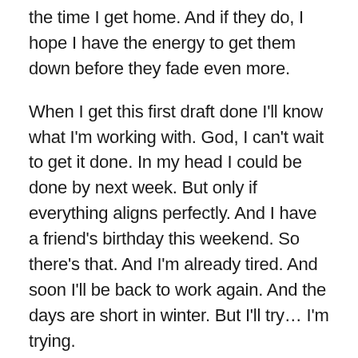the time I get home. And if they do, I hope I have the energy to get them down before they fade even more.
When I get this first draft done I'll know what I'm working with. God, I can't wait to get it done. In my head I could be done by next week. But only if everything aligns perfectly. And I have a friend's birthday this weekend. So there's that. And I'm already tired. And soon I'll be back to work again. And the days are short in winter. But I'll try… I'm trying.
I'll probably only end up having to tear the whole thing apart again afterwards anyway.